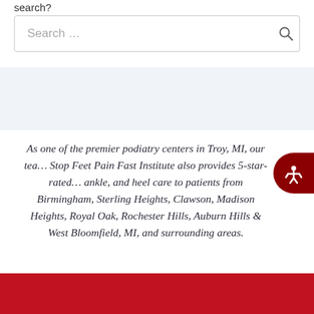search?
Search ...
As one of the premier podiatry centers in Troy, MI, our tea... Stop Feet Pain Fast Institute also provides 5-star-rated ... ankle, and heel care to patients from Birmingham, Sterling Heights, Clawson, Madison Heights, Royal Oak, Rochester Hills, Auburn Hills & West Bloomfield, MI, and surrounding areas.